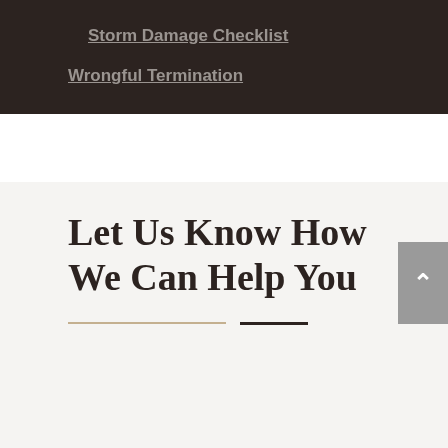Storm Damage Checklist
Wrongful Termination
Let Us Know How We Can Help You